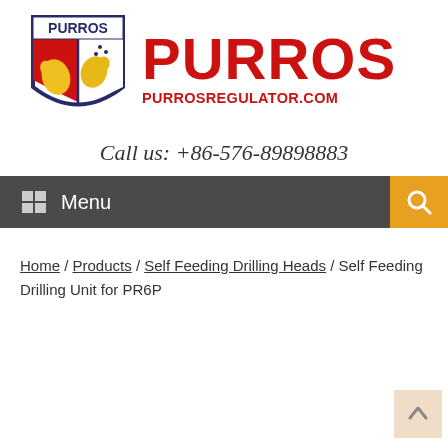[Figure (logo): PURROS shield logo with bird and yellow/red heraldic design, with PURROS text and PURROSREGULATOR.COM website URL in red]
Call us: +86-576-89898883
Menu / Search navigation bar
Home / Products / Self Feeding Drilling Heads / Self Feeding Drilling Unit for PR6P